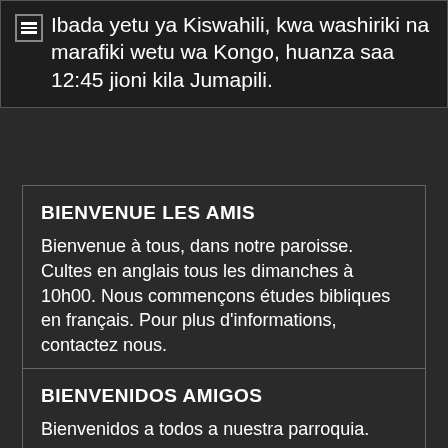Ibada yetu ya Kiswahili, kwa washiriki na marafiki wetu wa Kongo, huanza saa 12:45 jioni kila Jumapili.
BIENVENUE LES AMIS
Bienvenue à tous, dans notre paroisse. Cultes en anglais tous les dimanches à 10h00. Nous commençons études bibliques en français. Pour plus d'informations, contactez nous.
BIENVENIDOS AMIGOS
Bienvenidos a todos a nuestra parroquia.